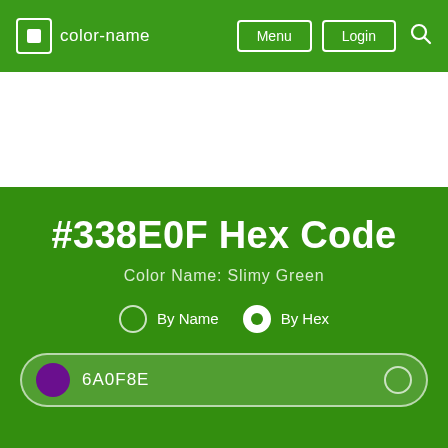color-name — Menu Login
#338E0F Hex Code
Color Name: Slimy Green
By Name   By Hex
6A0F8E